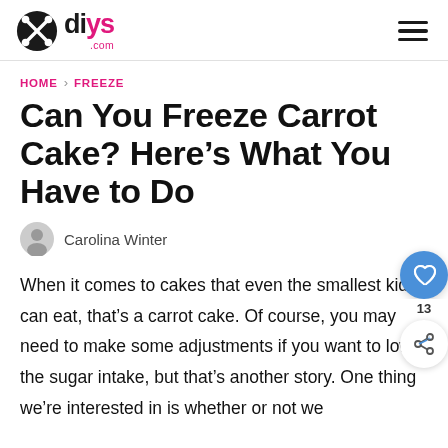diys.com
HOME > FREEZE
Can You Freeze Carrot Cake? Here’s What You Have to Do
Carolina Winter
When it comes to cakes that even the smallest kids can eat, that’s a carrot cake. Of course, you may need to make some adjustments if you want to lower the sugar intake, but that’s another story. One thing we’re interested in is whether or not we